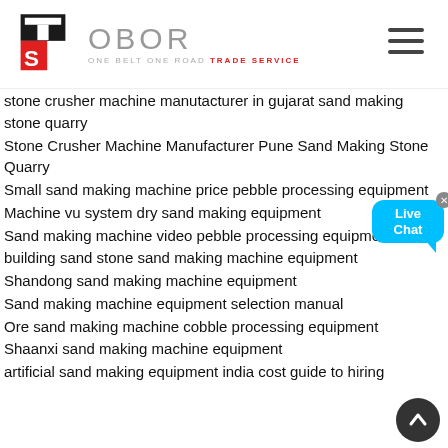[Figure (logo): TS OBOR - One Belt One Road Trade Service logo with hamburger menu icon]
stone crusher machine manutacturer in gujarat sand making stone quarry
Stone Crusher Machine Manufacturer Pune Sand Making Stone Quarry
Small sand making machine price pebble processing equipment
Machine vu system dry sand making equipment
Sand making machine video pebble processing equipment
building sand stone sand making machine equipment
Shandong sand making machine equipment
Sand making machine equipment selection manual
Ore sand making machine cobble processing equipment
Shaanxi sand making machine equipment
artificial sand making equipment india cost guide to hiring